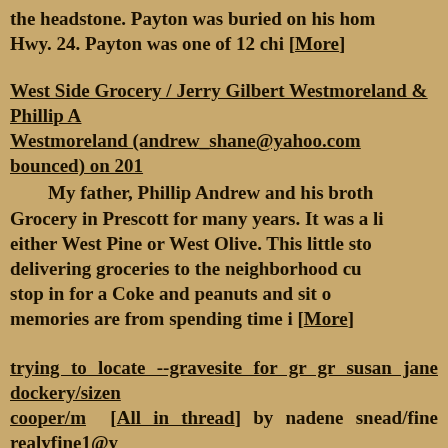the headstone. Payton was buried on his hom Hwy. 24. Payton was one of 12 chi [More]
West Side Grocery / Jerry Gilbert Westmoreland & Phillip A Westmoreland (andrew_shane@yahoo.com bounced) on 201
My father, Phillip Andrew and his broth Grocery in Prescott for many years. It was a li either West Pine or West Olive. This little sto delivering groceries to the neighborhood cu stop in for a Coke and peanuts and sit o memories are from spending time i [More]
trying to locate --gravesite for gr gr susan jane dockery/sizen cooper/m [All in thread] by nadene snead/fine realyfine1@y
susannah jane dockery /sizemore /cooper w nancy and westley cooper in independence to burried in Bruno Arkansas marion co earlier she might of most likly been burried at that ti family?????????--e-mail me @ realyfine1@y